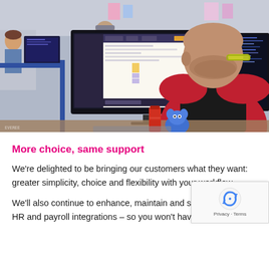[Figure (photo): Office scene showing a bearded man with yellow-green glasses viewed from behind, sitting at a desk with two monitors displaying code/software interfaces. Other colleagues visible in the background in an open-plan office. A red water bottle and small blue plush toy are on the desk.]
More choice, same support
We're delighted to be bringing our customers what they want: greater simplicity, choice and flexibility with your workflow.
We'll also continue to enhance, maintain and support existing HR and payroll integrations – so you won't have to